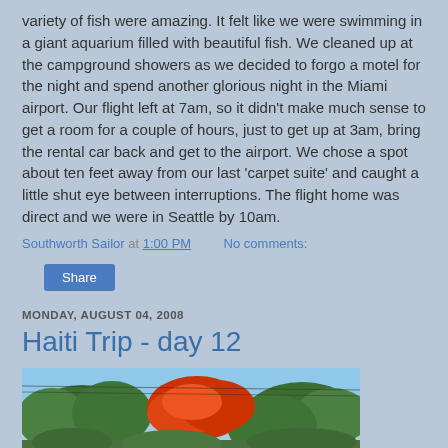variety of fish were amazing. It felt like we were swimming in a giant aquarium filled with beautiful fish. We cleaned up at the campground showers as we decided to forgo a motel for the night and spend another glorious night in the Miami airport. Our flight left at 7am, so it didn't make much sense to get a room for a couple of hours, just to get up at 3am, bring the rental car back and get to the airport. We chose a spot about ten feet away from our last 'carpet suite' and caught a little shut eye between interruptions. The flight home was direct and we were in Seattle by 10am.
Southworth Sailor at 1:00 PM   No comments:
Share
MONDAY, AUGUST 04, 2008
Haiti Trip - day 12
[Figure (photo): Outdoor photo showing tropical trees with red flowering tree (likely flamboyant/royal poinciana) against a blue sky, power lines visible]